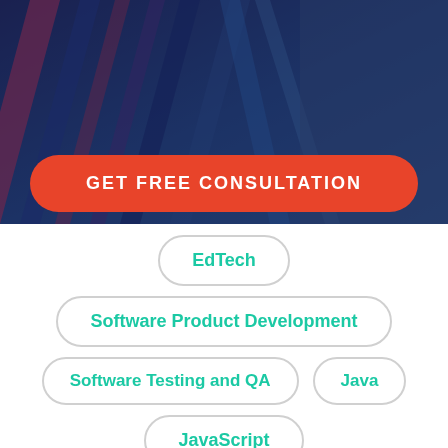[Figure (photo): Dark blue tinted background image of colored pencils arranged diagonally, with a semi-transparent dark blue overlay]
GET FREE CONSULTATION
EdTech
Software Product Development
Software Testing and QA
Java
JavaScript